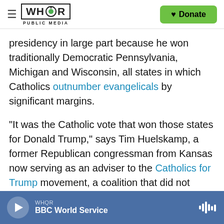WHQR PUBLIC MEDIA | Donate
presidency in large part because he won traditionally Democratic Pennsylvania, Michigan and Wisconsin, all states in which Catholics outnumber evangelicals by significant margins.
"It was the Catholic vote that won those states for Donald Trump," says Tim Huelskamp, a former Republican congressman from Kansas now serving as an adviser to the Catholics for Trump movement, a coalition that did not formally exist in 2016.
"There was less recognition four years ago,"
WHQR BBC World Service